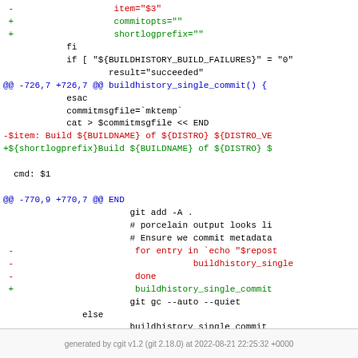[Figure (screenshot): Git diff code block showing removed and added lines in a shell script. Red lines prefixed with - show removed code, green lines prefixed with + show added code, blue lines show diff hunk headers (@@ ... @@), and black lines show context code.]
generated by cgit v1.2 (git 2.18.0) at 2022-08-21 22:25:32 +0000